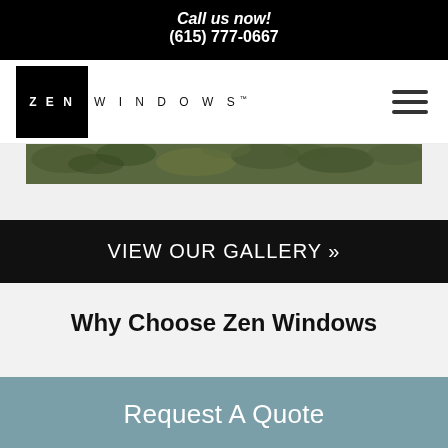Call us now!
(615) 777-0667
[Figure (logo): Zen Windows logo: black square with 'ZEN' in white letters followed by 'WINDOWS' in spaced dark text]
[Figure (photo): Partial photo of foliage/trees, dark green tones, cropped at the edge of the nav]
VIEW OUR GALLERY »
Why Choose Zen Windows
Request A Quote